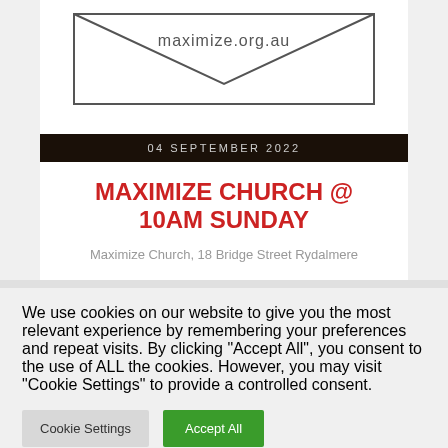[Figure (illustration): Envelope outline with maximize.org.au text, showing top flap pointing down]
04 SEPTEMBER 2022
MAXIMIZE CHURCH @ 10AM SUNDAY
Maximize Church, 18 Bridge Street Rydalmere
We use cookies on our website to give you the most relevant experience by remembering your preferences and repeat visits. By clicking "Accept All", you consent to the use of ALL the cookies. However, you may visit "Cookie Settings" to provide a controlled consent.
Cookie Settings | Accept All